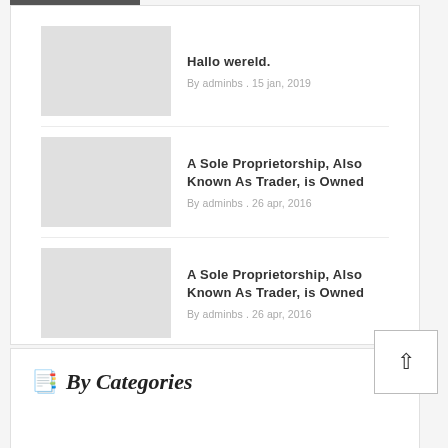Hallo wereld.
By adminbs .  15 jan, 2019
A Sole Proprietorship, Also Known As Trader, is Owned
By adminbs .  26 apr, 2016
A Sole Proprietorship, Also Known As Trader, is Owned
By adminbs .  26 apr, 2016
By Categories